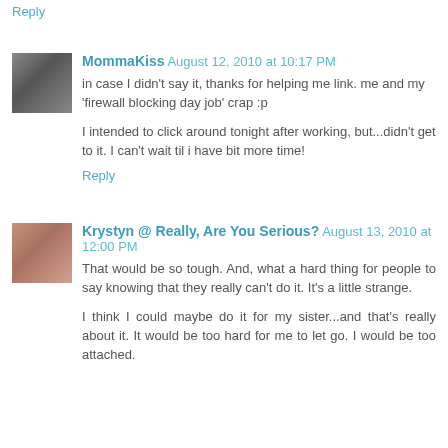Reply
MommaKiss August 12, 2010 at 10:17 PM
in case I didn't say it, thanks for helping me link. me and my 'firewall blocking day job' crap :p
I intended to click around tonight after working, but...didn't get to it. I can't wait til i have bit more time!
Reply
Krystyn @ Really, Are You Serious? August 13, 2010 at 12:00 PM
That would be so tough. And, what a hard thing for people to say knowing that they really can't do it. It's a little strange.
I think I could maybe do it for my sister...and that's really about it. It would be too hard for me to let go. I would be too attached.